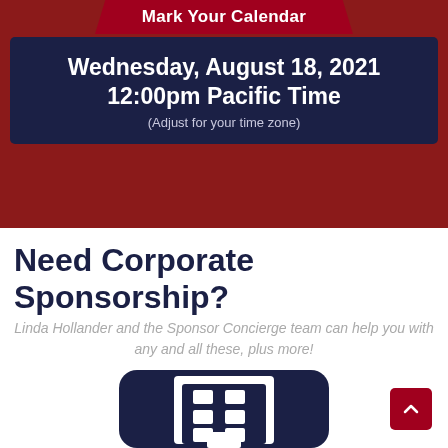Mark Your Calendar
Wednesday, August 18, 2021
12:00pm Pacific Time
(Adjust for your time zone)
Need Corporate Sponsorship?
Linda Hollander and the Sponsor Concierge team can help you with any and all these, plus more!
[Figure (illustration): Navy blue rounded square icon containing a white building/office tower silhouette with windows]